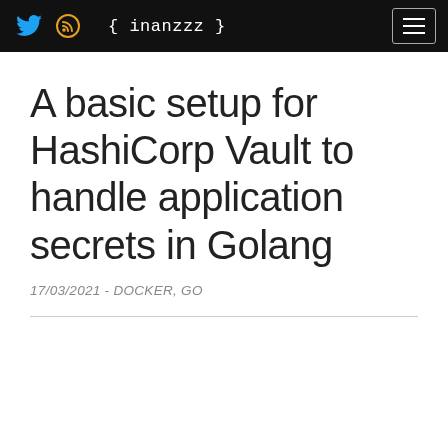{ inanzzz }
A basic setup for HashiCorp Vault to handle application secrets in Golang
17/03/2021 - DOCKER, GO